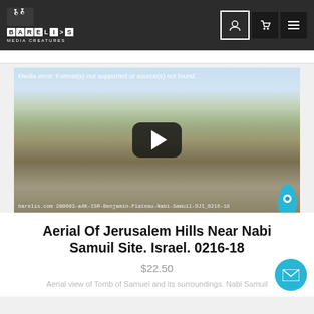BARELIS MEDIA CREATURES
[Figure (screenshot): Video player showing aerial landscape of Jerusalem Hills near Nabi Samuil, with media error message 'Media error: Format(s) not supported or source(s) not found', a play button overlay, and watermark text 'barelis.com 200603-a4K-ISR-Benjamin-Plateau-Nabi-Samuil-DJI_0216-18']
Aerial Of Jerusalem Hills Near Nabi Samuil Site. Israel. 0216-18
$22.50
Aerial view of Tomb of Samuel and its surroundings. Nabi Samuil